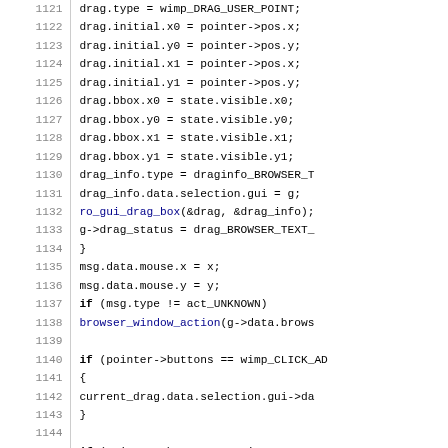Source code listing lines 1121–1150 showing C code for drag and browser window action handling